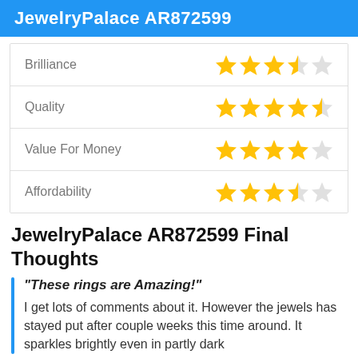JewelryPalace AR872599
| Category | Rating |
| --- | --- |
| Brilliance | 3.5/5 |
| Quality | 4.5/5 |
| Value For Money | 4/5 |
| Affordability | 3.5/5 |
JewelryPalace AR872599 Final Thoughts
"These rings are Amazing!"
I get lots of comments about it. However the jewels has stayed put after couple weeks this time around. It sparkles brightly even in partly dark